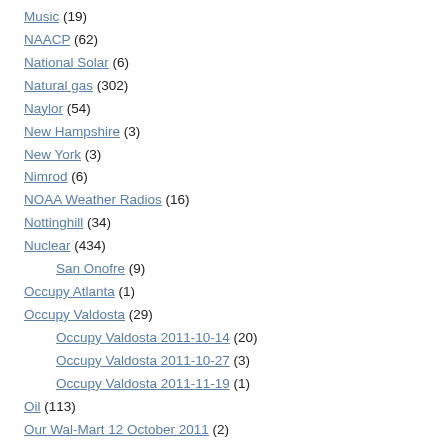Music (19)
NAACP (62)
National Solar (6)
Natural gas (302)
Naylor (54)
New Hampshire (3)
New York (3)
Nimrod (6)
NOAA Weather Radios (16)
Nottinghill (34)
Nuclear (434)
San Onofre (9)
Occupy Atlanta (1)
Occupy Valdosta (29)
Occupy Valdosta 2011-10-14 (20)
Occupy Valdosta 2011-10-27 (3)
Occupy Valdosta 2011-11-19 (1)
Oil (113)
Our Wal-Mart 12 October 2011 (2)